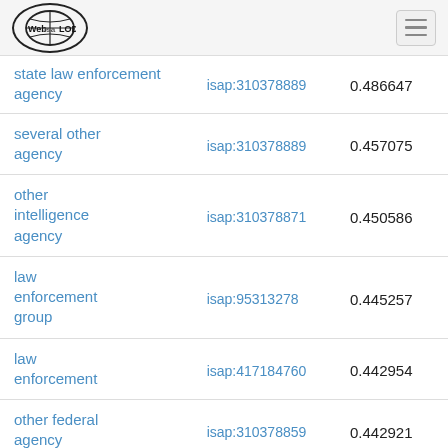Web isa LOD
|  |  |  |
| --- | --- | --- |
| state law enforcement agency | isap:310378889 | 0.486647 |
| several other agency | isap:310378889 | 0.457075 |
| other intelligence agency | isap:310378871 | 0.450586 |
| law enforcement group | isap:95313278 | 0.445257 |
| law enforcement | isap:417184760 | 0.442954 |
| other federal agency | isap:310378859 | 0.442921 |
| police agency | isap:310378894 | 0.439999 |